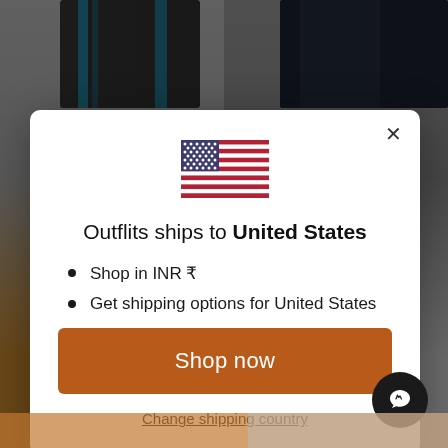[Figure (screenshot): Background showing an e-commerce website with athletic wear products, partially obscured by a modal overlay]
[Figure (illustration): US flag emoji/icon centered above modal title]
Outflits ships to United States
Shop in INR ₹
Get shipping options for United States
Shop now
Change shipping country